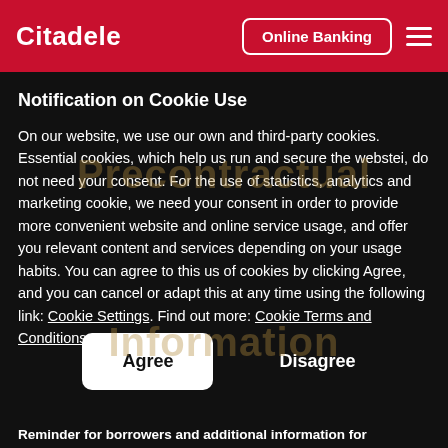Citadele — Online Banking
Notification on Cookie Use
On our website, we use our own and third-party cookies. Essential cookies, which help us run and secure the webstei, do not need your consent. For the use of statistics, analytics and marketing cookie, we need your consent in order to provide more convenient website and online service usage, and offer you relevant content and services depending on your usage habits. You can agree to this us of cookies by clicking Agree, and you can cancel or adapt this at any time using the following link: Cookie Settings. Find out more: Cookie Terms and Conditions.
Agree
Disagree
Reminder for borrowers and additional information for